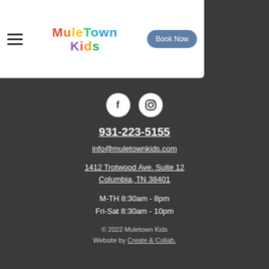MuleTown Kids | Book Now
[Figure (logo): MuleTown Kids colorful logo text with hamburger menu icon and Book Now button]
[Figure (other): Facebook and Instagram social media icon circles]
931-223-5155
info@muletownkids.com
1412 Trotwood Ave. Suite 12
Columbia, TN 38401
M-TH 8:30am - 8pm
Fri-Sat 8:30am - 10pm
© 2022 Muletown Kids
Website by Create & Collab.